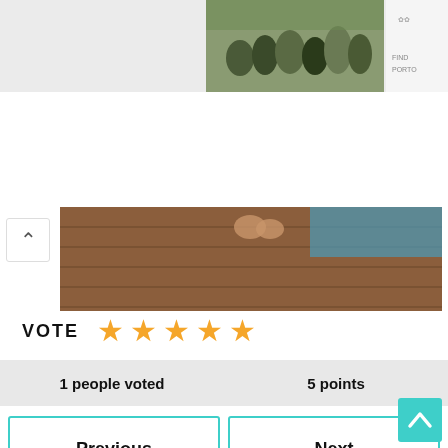[Figure (photo): Top area showing a group of people sitting outdoors and a partial advertisement with text FIND and PORTO]
[Figure (photo): Hero image showing a wooden deck/dock near a blue pool or water from above, partially cropped]
VOTE
[Figure (infographic): Five filled gold/yellow star rating icons indicating 5 stars]
| 1 people voted | 5 points |
| --- | --- |
Previous
Lacey Chabert
Next
Tucker Carlson